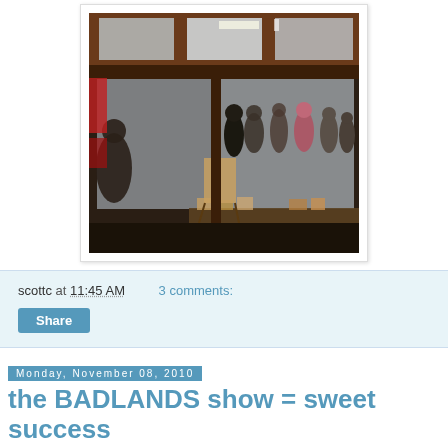[Figure (photo): Exterior view of a gallery storefront at night, with large windows showing a crowd of people inside, display cases in the foreground, and a sign/easel near the entrance.]
scottc at 11:45 AM   3 comments:
Share
Monday, November 08, 2010
the BADLANDS show = sweet success
Youguys! Columbus, OH was the best! Scott and Laura of Rivet Gallery were the best! all the people who came to the Q&A and the show were